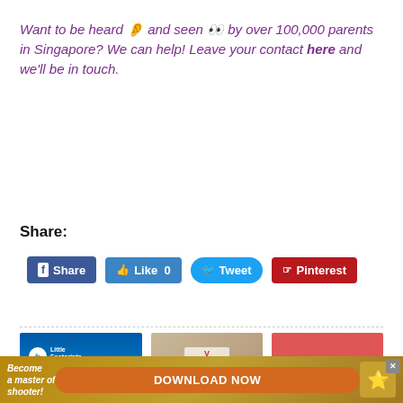Want to be heard 👂 and seen 👀 by over 100,000 parents in Singapore? We can help! Leave your contact here and we'll be in touch.
Share:
[Figure (screenshot): Social sharing buttons: Facebook Share, Like 0, Tweet, Pinterest]
[Figure (screenshot): Three advertisement banners: Little Footprints Preschool Open House, a clinic/person photo, and a Preschool & Childcare banner]
[Figure (screenshot): Bottom banner advertisement: Become a master of shooter! DOWNLOAD NOW button with close X]